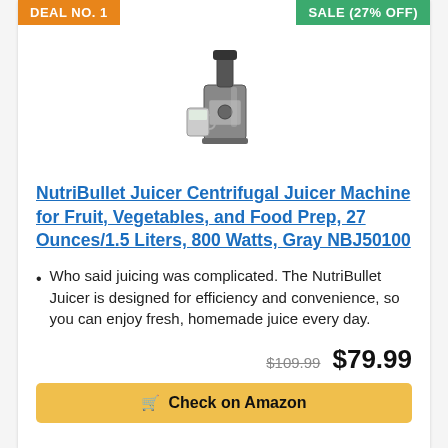DEAL NO. 1
SALE (27% OFF)
[Figure (photo): NutriBullet Juicer product image - centrifugal juicer machine in gray color with juice cup]
NutriBullet Juicer Centrifugal Juicer Machine for Fruit, Vegetables, and Food Prep, 27 Ounces/1.5 Liters, 800 Watts, Gray NBJ50100
Who said juicing was complicated. The NutriBullet Juicer is designed for efficiency and convenience, so you can enjoy fresh, homemade juice every day.
$109.99  $79.99
Check on Amazon